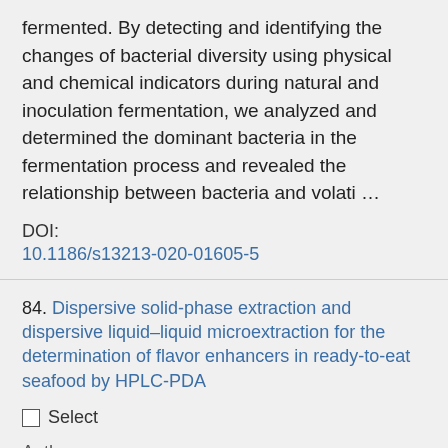fermented. By detecting and identifying the changes of bacterial diversity using physical and chemical indicators during natural and inoculation fermentation, we analyzed and determined the dominant bacteria in the fermentation process and revealed the relationship between bacteria and volati …
DOI:
10.1186/s13213-020-01605-5
84. Dispersive solid-phase extraction and dispersive liquid–liquid microextraction for the determination of flavor enhancers in ready-to-eat seafood by HPLC-PDA
Select
Author:
Yun-Jiao Ma; An-Qi Bi; Xiao-Yuan Wang; Lei Qin; Ming Du; Liang Dong; Xian-Bing Xu
Source:
Food chemistry; 2020; v.300; pp. 125753